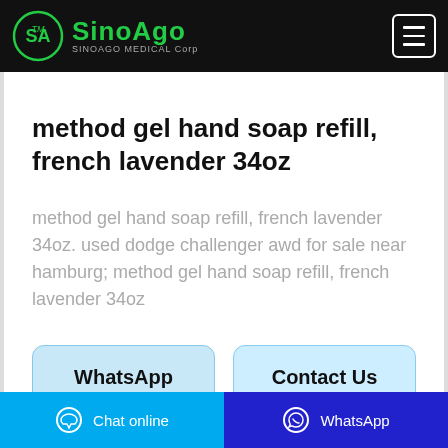SinoAgo MEDICAL Corp
method gel hand soap refill, french lavender 34oz
method gel hand soap refill, french lavender 34oz. used dodge challenger awd for sale near hamburg; method gel hand soap refill, french lavender 34oz
WhatsApp
Contact Us
Chat online | WhatsApp